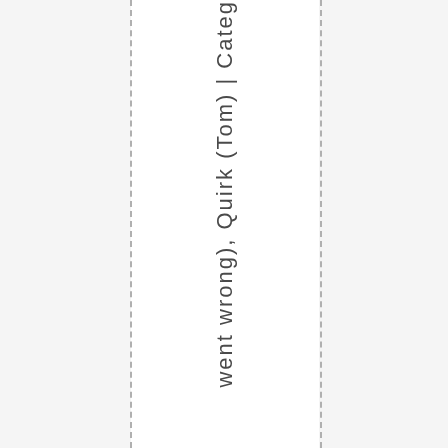went wrong), Quirk (Tom) | Categ